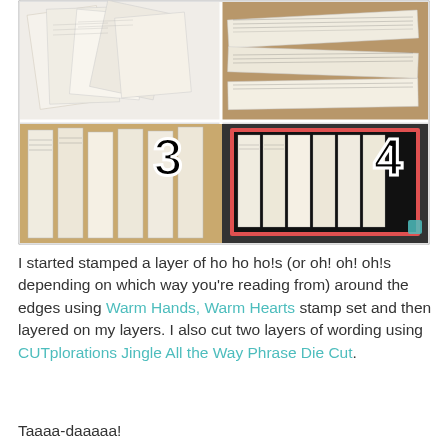[Figure (photo): A 2x2 collage of four step photos showing a craft project using vintage sheet music/book pages. Top-left (step 1): loose pages scattered on a white surface. Top-right (step 2): torn strips of sheet music on a brown surface. Bottom-left (step 3): strips arranged vertically on brown surface, with large bold number '3'. Bottom-right (step 4): finished framed piece with strips arranged in a grid pattern, with large bold number '4'.]
I started stamped a layer of ho ho ho!s (or oh! oh! oh!s depending on which way you're reading from) around the edges using Warm Hands, Warm Hearts stamp set and then layered on my layers. I also cut two layers of wording using CUTplorations Jingle All the Way Phrase Die Cut.
Taaaa-daaaaa!